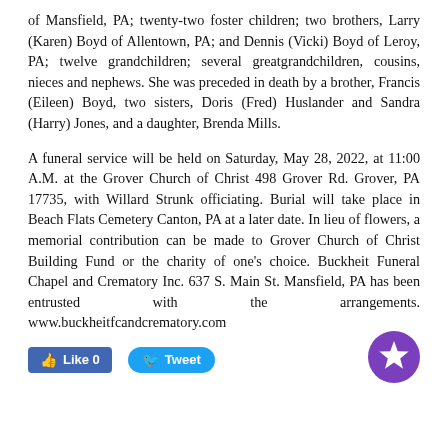of Mansfield, PA; twenty-two foster children; two brothers, Larry (Karen) Boyd of Allentown, PA; and Dennis (Vicki) Boyd of Leroy, PA; twelve grandchildren; several greatgrandchildren, cousins, nieces and nephews. She was preceded in death by a brother, Francis (Eileen) Boyd, two sisters, Doris (Fred) Huslander and Sandra (Harry) Jones, and a daughter, Brenda Mills.
A funeral service will be held on Saturday, May 28, 2022, at 11:00 A.M. at the Grover Church of Christ 498 Grover Rd. Grover, PA 17735, with Willard Strunk officiating. Burial will take place in Beach Flats Cemetery Canton, PA at a later date. In lieu of flowers, a memorial contribution can be made to Grover Church of Christ Building Fund or the charity of one's choice. Buckheit Funeral Chapel and Crematory Inc. 637 S. Main St. Mansfield, PA has been entrusted with the arrangements. www.buckheitfcandcrematory.com
[Figure (other): Social media buttons: Facebook Like (count 0) and Twitter Tweet buttons, plus a purple star badge icon]